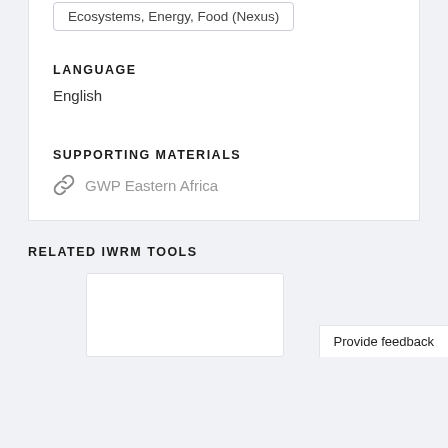Ecosystems, Energy, Food (Nexus)
LANGUAGE
English
SUPPORTING MATERIALS
GWP Eastern Africa
RELATED IWRM TOOLS